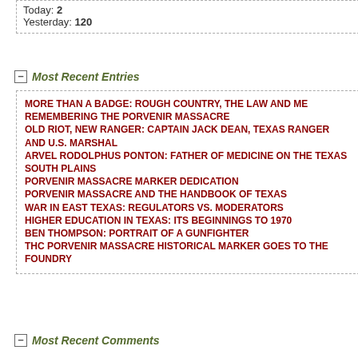Today: 2
Yesterday: 120
Most Recent Entries
MORE THAN A BADGE: ROUGH COUNTRY, THE LAW AND ME
REMEMBERING THE PORVENIR MASSACRE
OLD RIOT, NEW RANGER: CAPTAIN JACK DEAN, TEXAS RANGER AND U.S. MARSHAL
ARVEL RODOLPHUS PONTON: FATHER OF MEDICINE ON THE TEXAS SOUTH PLAINS
PORVENIR MASSACRE MARKER DEDICATION
PORVENIR MASSACRE AND THE HANDBOOK OF TEXAS
WAR IN EAST TEXAS: REGULATORS VS. MODERATORS
HIGHER EDUCATION IN TEXAS: ITS BEGINNINGS TO 1970
BEN THOMPSON: PORTRAIT OF A GUNFIGHTER
THC PORVENIR MASSACRE HISTORICAL MARKER GOES TO THE FOUNDRY
Most Recent Comments